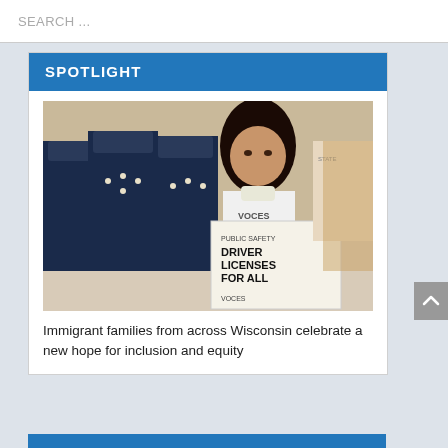SEARCH ...
SPOTLIGHT
[Figure (photo): Woman in white VOCES shirt holding a sign reading 'PUBLIC SAFETY DRIVER LICENSES FOR ALL VOCES', with mariachi band members in blue uniforms standing behind her in what appears to be a government building.]
Immigrant families from across Wisconsin celebrate a new hope for inclusion and equity